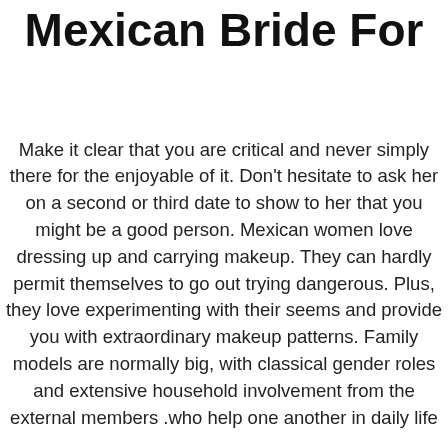Mexican Bride For
Make it clear that you are critical and never simply there for the enjoyable of it. Don't hesitate to ask her on a second or third date to show to her that you might be a good person. Mexican women love dressing up and carrying makeup. They can hardly permit themselves to go out trying dangerous. Plus, they love experimenting with their seems and provide you with extraordinary makeup patterns. Family models are normally big, with classical gender roles and extensive household involvement from the external members .who help one another in daily life
Close household ties are valued above all in Mexico. Here, folks established family gatherings with a couple of generations to speak within their households and maintain bonds with the elderly. So if you wish to create an in depth household in the future, consider dating Mexican brides on-